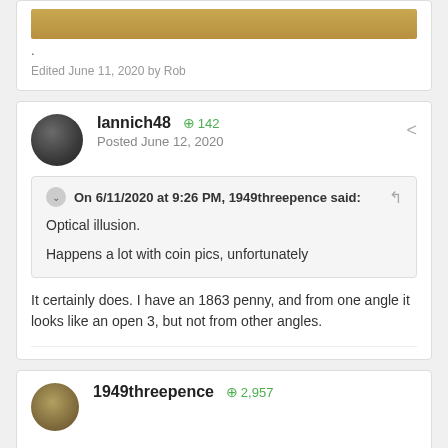[Figure (photo): Coin image strip at top of page]
.
Edited June 11, 2020 by Rob
Iannich48  +142
Posted June 12, 2020
On 6/11/2020 at 9:26 PM, 1949threepence said:
Optical illusion.
Happens a lot with coin pics, unfortunately
It certainly does. I have an 1863 penny, and from one angle it looks like an open 3, but not from other angles.
1949threepence  +2,957